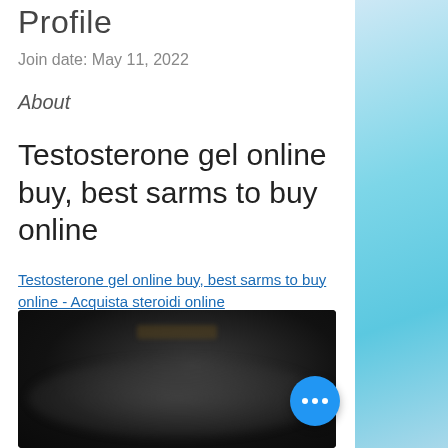Profile
Join date: May 11, 2022
About
Testosterone gel online buy, best sarms to buy online
Testosterone gel online buy, best sarms to buy online - Acquista steroidi online
[Figure (photo): Blurred dark image, content obscured]